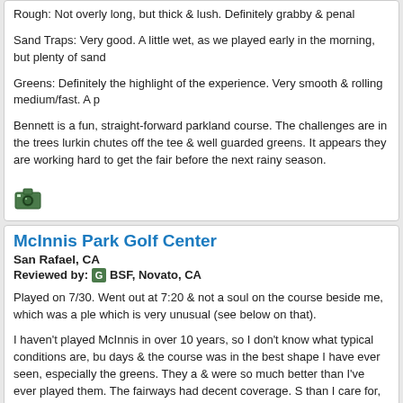Rough: Not overly long, but thick & lush. Definitely grabby & penal
Sand Traps: Very good. A little wet, as we played early in the morning, but plenty of sand...
Greens: Definitely the highlight of the experience. Very smooth & rolling medium/fast. A p...
Bennett is a fun, straight-forward parkland course. The challenges are in the trees lurking... chutes off the tee & well guarded greens. It appears they are working hard to get the fair... before the next rainy season.
[Figure (illustration): Camera icon]
McInnis Park Golf Center
San Rafael, CA
Reviewed by: [G icon] BSF, Novato, CA
Played on 7/30. Went out at 7:20 & not a soul on the course beside me, which was a ple... which is very unusual (see below on that).
I haven't played McInnis in over 10 years, so I don't know what typical conditions are, bu... days & the course was in the best shape I have ever seen, especially the greens. They a... & were so much better than I've ever played them. The fairways had decent coverage. S... than I care for, but again, I had a good clean lie in every fairway (only 4 par 4s here). Th... again some thin spots here & there. I was in one bunker on #9 & it was a bit wet, but go... along the way. The tee boxes were pretty chewed up, but level & it wasn't an issue.
Being reintroduced to this little course, I really enjoyed myself. The layout is great & has... 3's are fairly long from the blues & the middle par 4s have water to deal with. Some prett... I snapped some pictures, which I will post.
Before you all rush out there (haha!), McInnis gets A TON of play, mainly from people wh... enjoy the much shorter length & relative ease of this place, as opposed to a full-size co...